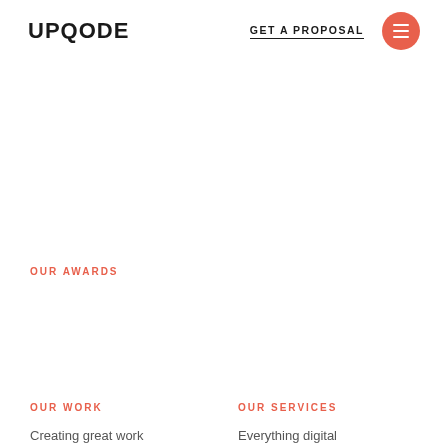UPQODE | GET A PROPOSAL
OUR AWARDS
Review UPQODE
OUR WORK
Creating great work
OUR SERVICES
Everything digital